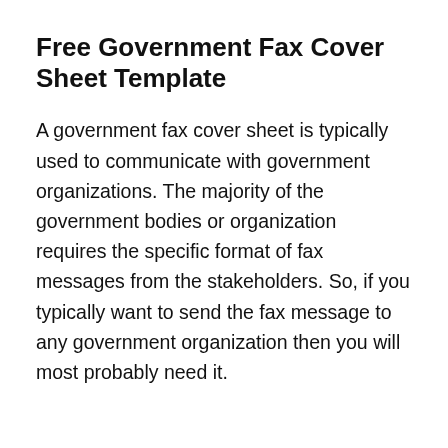Free Government Fax Cover Sheet Template
A government fax cover sheet is typically used to communicate with government organizations. The majority of the government bodies or organization requires the specific format of fax messages from the stakeholders. So, if you typically want to send the fax message to any government organization then you will most probably need it.